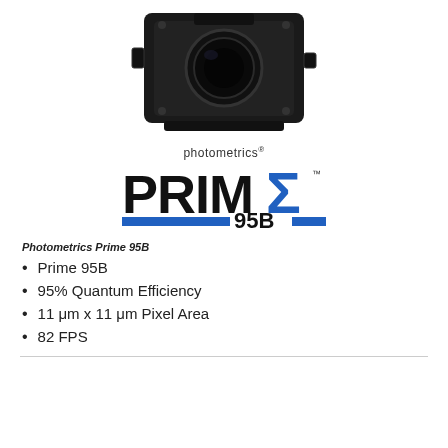[Figure (photo): Photometrics Prime 95B scientific camera, dark/black colored, viewed from a 3/4 angle showing the body and lens mount]
[Figure (logo): Photometrics Prime 95B logo: 'photometrics®' above large stylized 'PRIME 95B' text with Sigma symbol in blue and black]
Photometrics Prime 95B
Prime 95B
95% Quantum Efficiency
11 μm x 11 μm Pixel Area
82 FPS